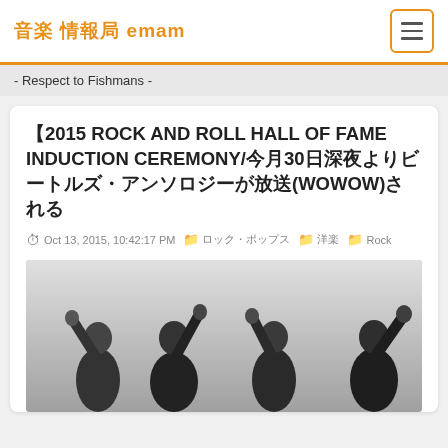音楽 情報局 emam
- Respect to Fishmans -
【2015 ROCK AND ROLL HALL OF FAME INDUCTION CEREMONY/今月30日深夜よりビートルズ・アンソロジーが放送(WOWOW)される
Oct 13, 2015, 10:42:17 PM  ロック・ポップス  洋楽  Rock
[Figure (photo): Black and white photo of four people (resembling The Beatles) raising their hands/waving]